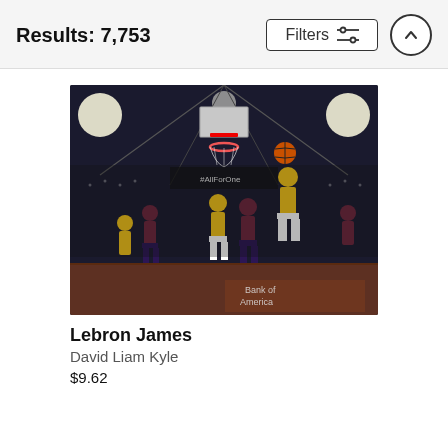Results: 7,753
[Figure (photo): Basketball game action shot showing LeBron James dunking during an NBA game between the LA Lakers (yellow jerseys) and the Cleveland Cavaliers (red jerseys), inside a packed arena.]
Lebron James
David Liam Kyle
$9.62